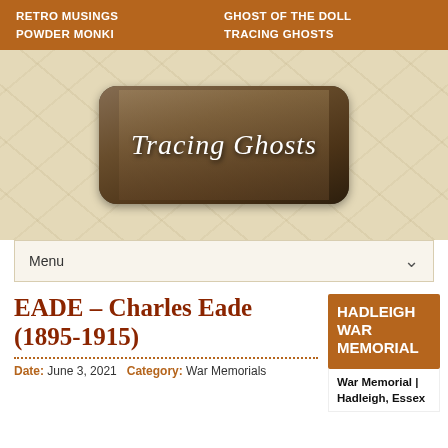RETRO MUSINGS | GHOST OF THE DOLL | POWDER MONKI | TRACING GHOSTS
[Figure (logo): Tracing Ghosts website logo — black rounded rectangle with sepia family photo and italic script text 'Tracing Ghosts']
Menu
EADE – Charles Eade (1895-1915)
Date: June 3, 2021  Category: War Memorials
HADLEIGH WAR MEMORIAL
War Memorial | Hadleigh, Essex